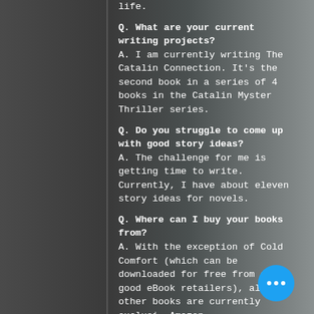life.

Q. What are your current writing projects?
A. I am currently writing The Catalin Connection. It's the second book in a series of 4 books in the Catalin Myster Thriller series.

Q. Do you struggle to come up with good story ideas?
A. The challenge for me is getting time to write. Currently, I have about eleven story ideas for novels.

Q. Where can I buy your books from?
A. With the exception of Cold Comfort (which can be downloaded for free from all good eBook retailers), all my other books are currently exclusively on Amazon.